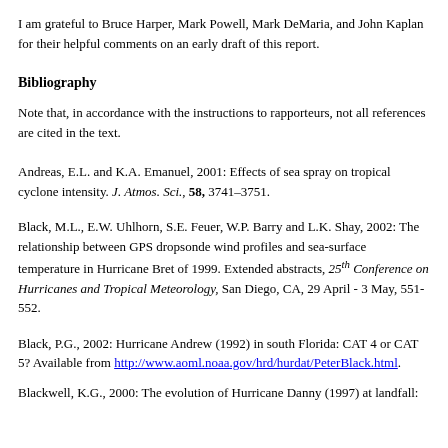I am grateful to Bruce Harper, Mark Powell, Mark DeMaria, and John Kaplan for their helpful comments on an early draft of this report.
Bibliography
Note that, in accordance with the instructions to rapporteurs, not all references are cited in the text.
Andreas, E.L. and K.A. Emanuel, 2001: Effects of sea spray on tropical cyclone intensity. J. Atmos. Sci., 58, 3741–3751.
Black, M.L., E.W. Uhlhorn, S.E. Feuer, W.P. Barry and L.K. Shay, 2002: The relationship between GPS dropsonde wind profiles and sea-surface temperature in Hurricane Bret of 1999. Extended abstracts, 25th Conference on Hurricanes and Tropical Meteorology, San Diego, CA, 29 April - 3 May, 551-552.
Black, P.G., 2002: Hurricane Andrew (1992) in south Florida: CAT 4 or CAT 5? Available from http://www.aoml.noaa.gov/hrd/hurdat/PeterBlack.html.
Blackwell, K.G., 2000: The evolution of Hurricane Danny (1997) at landfall: